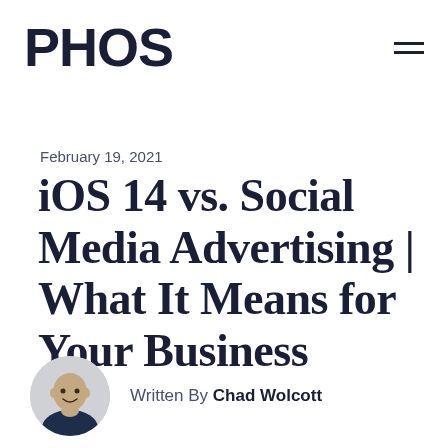PHOS
February 19, 2021
iOS 14 vs. Social Media Advertising | What It Means for Your Business
Written By Chad Wolcott